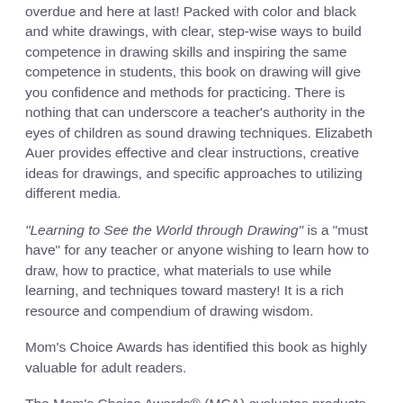overdue and here at last! Packed with color and black and white drawings, with clear, step-wise ways to build competence in drawing skills and inspiring the same competence in students, this book on drawing will give you confidence and methods for practicing. There is nothing that can underscore a teacher's authority in the eyes of children as sound drawing techniques. Elizabeth Auer provides effective and clear instructions, creative ideas for drawings, and specific approaches to utilizing different media.
"Learning to See the World through Drawing" is a "must have" for any teacher or anyone wishing to learn how to draw, how to practice, what materials to use while learning, and techniques toward mastery! It is a rich resource and compendium of drawing wisdom.
Mom's Choice Awards has identified this book as highly valuable for adult readers.
The Mom's Choice Awards® (MCA) evaluates products and services created for children, families and educators. The program is globally recognized for establishing the benchmark of excellence in family-